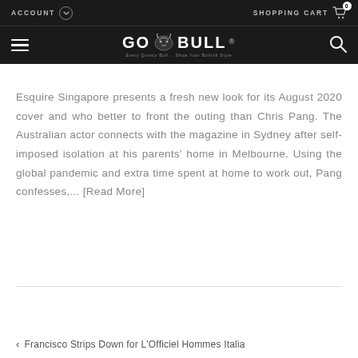ACCOUNT   GO BULL   SHOPPING CART 0
Esquire Singapore presents a fresh new look for its August 2020 cover and who better to front the outing than Chris Pang. The Australian actor connects with the magazine in Sydney after self-imposed isolation at his parents' home in Melbourne. Using the global pandemic and extra time spent at home to work out, Pang confesses,... [Read More]
Francisco Strips Down for L'Officiel Hommes Italia